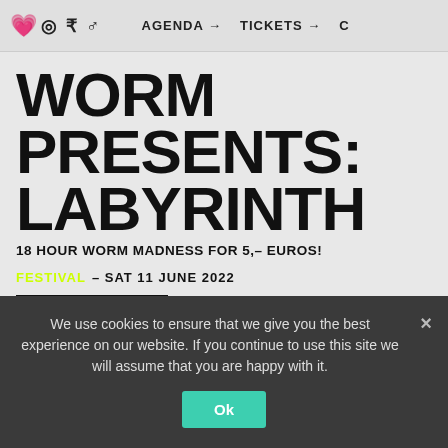💗 ◎ ₹ ♂  AGENDA →   TICKETS →   C
WORM PRESENTS: LABYRINTH
18 HOUR WORM MADNESS FOR 5,– EUROS!
FESTIVAL – SAT 11 JUNE 2022
GET TICKETS
WORM ROTTERDAM
We use cookies to ensure that we give you the best experience on our website. If you continue to use this site we will assume that you are happy with it.
Ok